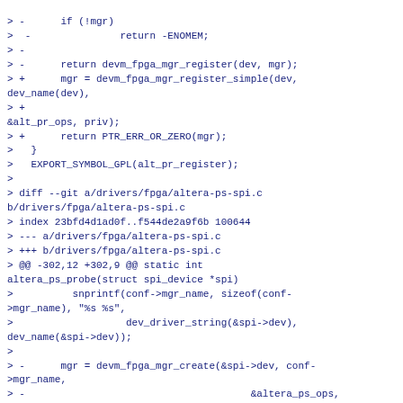> -      if (!mgr)
>  -               return -ENOMEM;
> -
> -      return devm_fpga_mgr_register(dev, mgr);
> +      mgr = devm_fpga_mgr_register_simple(dev, dev_name(dev),
> +
&alt_pr_ops, priv);
> +      return PTR_ERR_OR_ZERO(mgr);
>   }
>   EXPORT_SYMBOL_GPL(alt_pr_register);
>
> diff --git a/drivers/fpga/altera-ps-spi.c b/drivers/fpga/altera-ps-spi.c
> index 23bfd4d1ad0f..f544de2a9f6b 100644
> --- a/drivers/fpga/altera-ps-spi.c
> +++ b/drivers/fpga/altera-ps-spi.c
> @@ -302,12 +302,9 @@ static int altera_ps_probe(struct spi_device *spi)
>          snprintf(conf->mgr_name, sizeof(conf->mgr_name), "%s %s",
>                          dev_driver_string(&spi->dev), dev_name(&spi->dev));
>
> -      mgr = devm_fpga_mgr_create(&spi->dev, conf->mgr_name,
> -                                      &altera_ps_ops, conf);
> -      if (!mgr)
> -               return -ENOMEM;